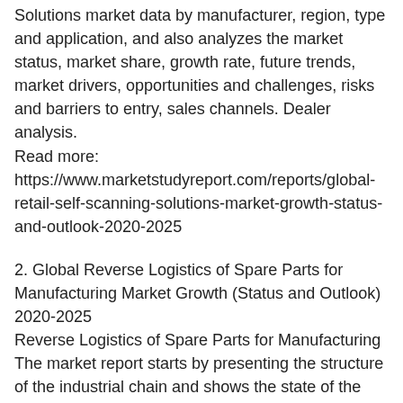Solutions market data by manufacturer, region, type and application, and also analyzes the market status, market share, growth rate, future trends, market drivers, opportunities and challenges, risks and barriers to entry, sales channels. Dealer analysis. Read more: https://www.marketstudyreport.com/reports/global-retail-self-scanning-solutions-market-growth-status-and-outlook-2020-2025
2. Global Reverse Logistics of Spare Parts for Manufacturing Market Growth (Status and Outlook) 2020-2025 Reverse Logistics of Spare Parts for Manufacturing The market report starts by presenting the structure of the industrial chain and shows the state of the industry. At this point, research shows the size and mapping of Reverse Logistics of Spare Parts for Manufacturing by item, district, and application. Live